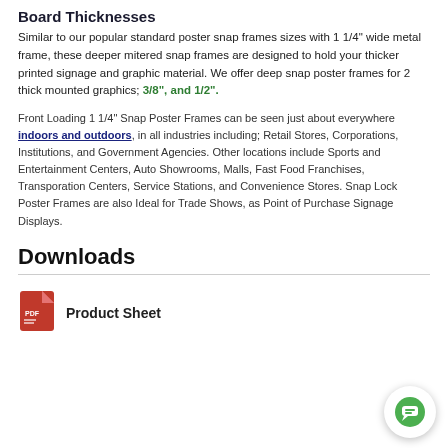Board Thicknesses
Similar to our popular standard poster snap frames sizes with 1 1/4" wide metal frame, these deeper mitered snap frames are designed to hold your thicker printed signage and graphic material. We offer deep snap poster frames for 2 thick mounted graphics; 3/8", and 1/2".
Front Loading 1 1/4" Snap Poster Frames can be seen just about everywhere indoors and outdoors, in all industries including; Retail Stores, Corporations, Institutions, and Government Agencies. Other locations include Sports and Entertainment Centers, Auto Showrooms, Malls, Fast Food Franchises, Transporation Centers, Service Stations, and Convenience Stores. Snap Lock Poster Frames are also Ideal for Trade Shows, as Point of Purchase Signage Displays.
Downloads
Product Sheet